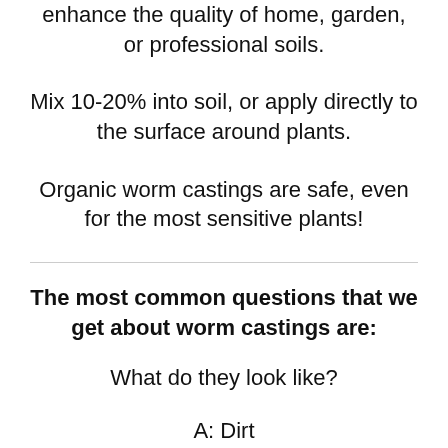enhance the quality of home, garden, or professional soils.
Mix 10-20% into soil, or apply directly to the surface around plants.
Organic worm castings are safe, even for the most sensitive plants!
The most common questions that we get about worm castings are:
What do they look like?
A: Dirt